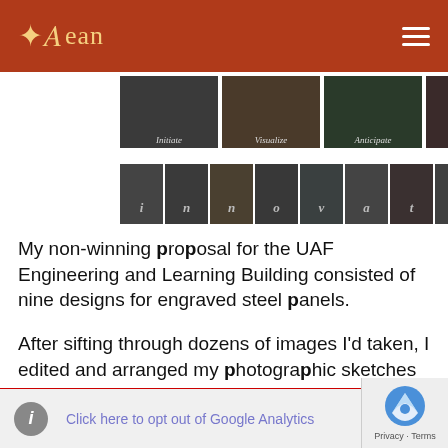ADean
[Figure (photo): Two rows of black-and-white photographic thumbnails showing various nature and abstract images. Row 1 has four larger images labeled Initiate, Visualize, Anticipate, Actual. Row 2 has nine smaller images spelling out 'Innovate' with individual letters between thumbnails.]
My non-winning proposal for the UAF Engineering and Learning Building consisted of nine designs for engraved steel panels.
After sifting through dozens of images I'd taken, I edited and arranged my photographic sketches in an attempt to illustrate the various stages of the innovative process.
Click here to opt out of Google Analytics